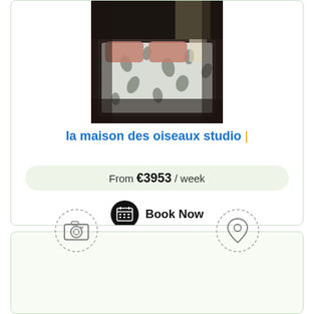[Figure (photo): Bedroom photo showing a double bed with a floral/dark patterned white bedspread and pink pillows, dark wooden floor]
la maison des oiseaux studio |
From €3953 / week
Book Now
[Figure (other): Bottom card with camera icon on left and map pin/location icon on right, dashed circular borders]